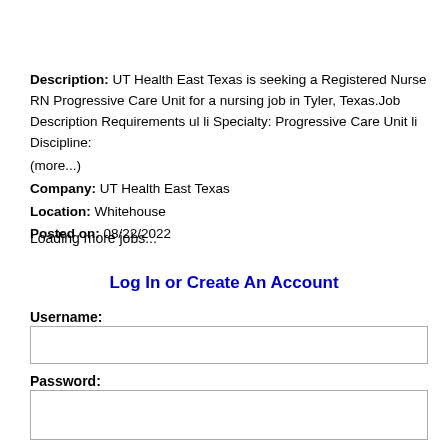Description: UT Health East Texas is seeking a Registered Nurse RN Progressive Care Unit for a nursing job in Tyler, Texas.Job Description Requirements ul li Specialty: Progressive Care Unit li Discipline: (more...) Company: UT Health East Texas Location: Whitehouse Posted on: 08/22/2022
Loading more jobs...
Log In or Create An Account
Username:
Password: